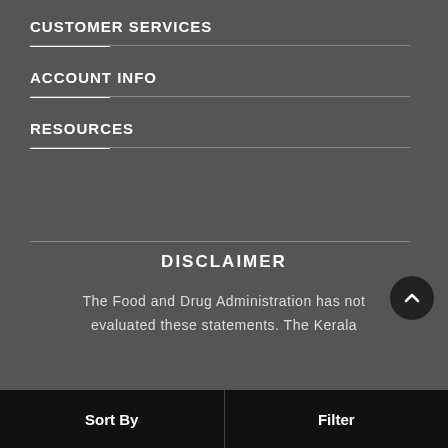CUSTOMER SERVICES
ACCOUNT INFO
RESOURCES
DISCLAIMER
The Food and Drug Administration has not evaluated these statements. The Kerala